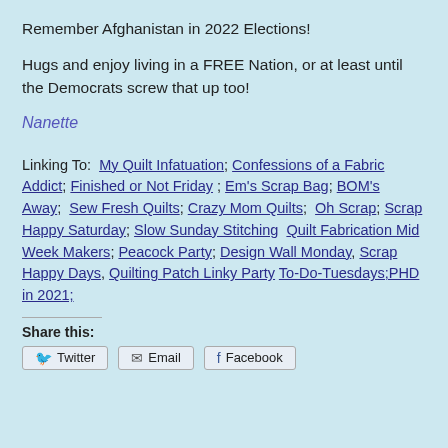Remember Afghanistan in 2022 Elections!
Hugs and enjoy living in a FREE Nation, or at least until the Democrats screw that up too!
Nanette
Linking To:  My Quilt Infatuation; Confessions of a Fabric Addict; Finished or Not Friday ; Em's Scrap Bag; BOM's Away;  Sew Fresh Quilts; Crazy Mom Quilts;  Oh Scrap; Scrap Happy Saturday; Slow Sunday Stitching  Quilt Fabrication Mid Week Makers; Peacock Party; Design Wall Monday, Scrap Happy Days, Quilting Patch Linky Party To-Do-Tuesdays;PHD in 2021;
Share this:
Twitter Email Facebook